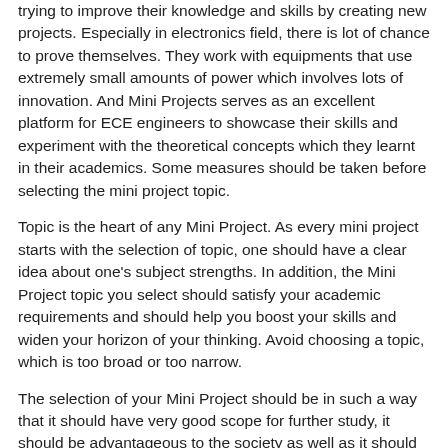trying to improve their knowledge and skills by creating new projects. Especially in electronics field, there is lot of chance to prove themselves. They work with equipments that use extremely small amounts of power which involves lots of innovation. And Mini Projects serves as an excellent platform for ECE engineers to showcase their skills and experiment with the theoretical concepts which they learnt in their academics. Some measures should be taken before selecting the mini project topic.
Topic is the heart of any Mini Project. As every mini project starts with the selection of topic, one should have a clear idea about one's subject strengths. In addition, the Mini Project topic you select should satisfy your academic requirements and should help you boost your skills and widen your horizon of your thinking. Avoid choosing a topic, which is too broad or too narrow.
The selection of your Mini Project should be in such a way that it should have very good scope for further study, it should be advantageous to the society as well as it should enhance your technical and managerial skills.